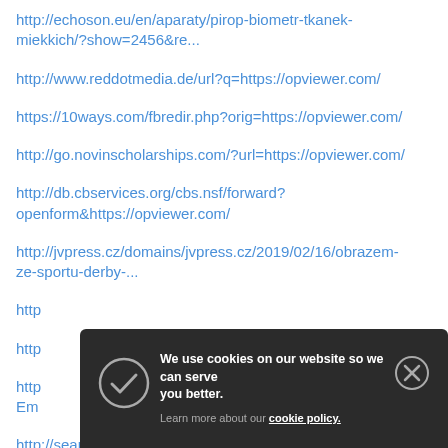http://echoson.eu/en/aparaty/pirop-biometr-tkanek-miekkich/?show=2456&re...
http://www.reddotmedia.de/url?q=https://opviewer.com/
https://10ways.com/fbredir.php?orig=https://opviewer.com/
http://go.novinscholarships.com/?url=https://opviewer.com/
http://db.cbservices.org/cbs.nsf/forward?openform&https://opviewer.com/
http://jvpress.cz/domains/jvpress.cz/2019/02/16/obrazem-ze-sportu-derby-...
http...
http...
http...
Em...
http://search.bage.f.net/rank.cgi?...
[Figure (screenshot): Cookie consent banner overlay with dark background. Contains a checkmark icon on the left, bold white text 'We use cookies on our website so we can serve you better.', smaller gray text 'Learn more about our cookie policy.' with 'cookie policy.' as a white underlined link, and an X close button on the right.]